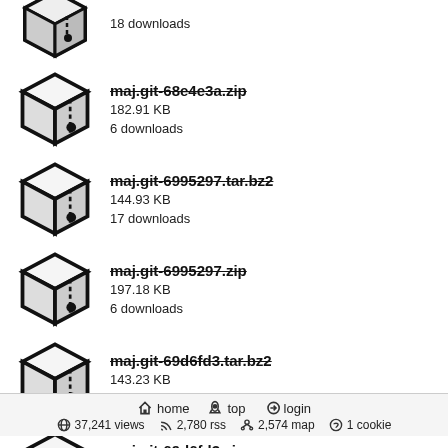18 downloads (partial, top-cropped)
maj.git-68e4e3a.zip
182.91 KB
6 downloads
maj.git-6995297.tar.bz2
144.93 KB
17 downloads
maj.git-6995297.zip
197.18 KB
6 downloads
maj.git-69d6fd3.tar.bz2
143.23 KB
18 downloads
maj.git-69d6fd3.zip
194.89 KB
8 downloads
maj.git-6aa97...tar.bz2
142.95 KB
... downloads (partial, bottom-cropped)
home  top  login  |  37,241 views  2,780 rss  2,574 map  1 cookie